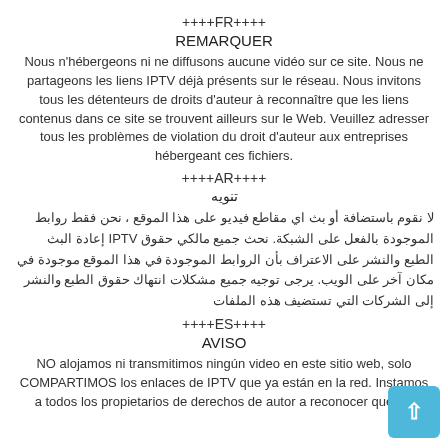++++FR++++
REMARQUER
Nous n'hébergeons ni ne diffusons aucune vidéo sur ce site. Nous ne partageons les liens IPTV déjà présents sur le réseau. Nous invitons tous les détenteurs de droits d'auteur à reconnaître que les liens contenus dans ce site se trouvent ailleurs sur le Web. Veuillez adresser tous les problèmes de violation du droit d'auteur aux entreprises hébergeant ces fichiers.
++++AR++++
تنويه
لا نقوم باستضافة أو بث اي مقاطع فيديو على هذا الموقع ، نحن فقط روابط الموجودة بالفعل على الشبكة. نحث جميع مالكي حقوق IPTV إعادة البث الطبع والنشر على الاعتراف بأن الروابط الموجودة في هذا الموقع موجودة في مكان آخر على الويب. يرجى توجيه جميع مشكلات انتهاك حقوق الطبع والنشر إلى الشركات التي تستضيف هذه الملفات
++++ES++++
AVISO
NO alojamos ni transmitimos ningún video en este sitio web, solo COMPARTIMOS los enlaces de IPTV que ya están en la red. Instamos a todos los propietarios de derechos de autor a reconocer que los